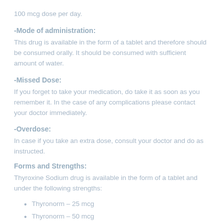100 mcg dose per day.
-Mode of administration:
This drug is available in the form of a tablet and therefore should be consumed orally. It should be consumed with sufficient amount of water.
-Missed Dose:
If you forget to take your medication, do take it as soon as you remember it. In the case of any complications please contact your doctor immediately.
-Overdose:
In case if you take an extra dose, consult your doctor and do as instructed.
Forms and Strengths:
Thyroxine Sodium drug is available in the form of a tablet and under the following strengths:
Thyronorm – 25 mcg
Thyronorm – 50 mcg
Thyronorm – 75